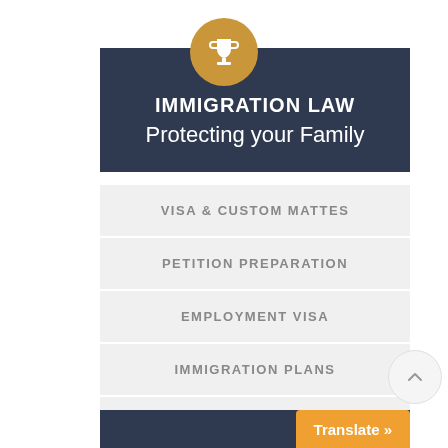[Figure (illustration): Trophy icon in a golden/tan circle above the header box]
IMMIGRATION LAW
Protecting your Family
VISA & CUSTOM MATTES
PETITION PREPARATION
EMPLOYMENT VISA
IMMIGRATION PLANS
FAMILY IMMIGRATION
CORPORATE ACQUSITIONS
Translate »